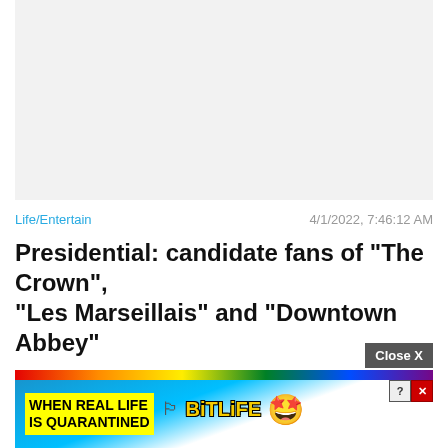[Figure (other): Gray placeholder image area at top of article]
Life/Entertain    4/1/2022, 7:46:12 AM
Presidential: candidate fans of "The Crown", "Les Marseillais" and "Downtown Abbey"
[Figure (other): BitLife advertisement banner: 'WHEN REAL LIFE IS QUARANTINED' with rainbow and BitLife logo and star-eyes emoji with mask]
Close X